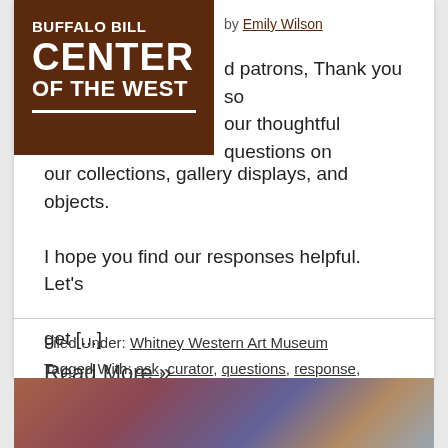[Figure (logo): Buffalo Bill Center of the West logo — white text on dark brown background with underline bar]
by Emily Wilson
d patrons, Thank you so our thoughtful questions on our collections, gallery displays, and objects. I hope you find our responses helpful. Let's get [...]
Read More »
Filed Under: Whitney Western Art Museum
Tagged With: ask, curator, questions, response, visitor, whitney
[Figure (photo): Colorful artistic figures/sculptures on a dark background, partially visible at the bottom of the page]